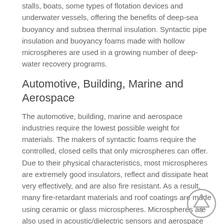stalls, boats, some types of flotation devices and underwater vessels, offering the benefits of deep-sea buoyancy and subsea thermal insulation. Syntactic pipe insulation and buoyancy foams made with hollow microspheres are used in a growing number of deep-water recovery programs.
Automotive, Building, Marine and Aerospace
The automotive, building, marine and aerospace industries require the lowest possible weight for materials. The makers of syntactic foams require the controlled, closed cells that only microspheres can offer.  Due to their physical characteristics, most microspheres are extremely good insulators, reflect and dissipate heat very effectively, and are also fire resistant. As a result, many fire-retardant materials and roof coatings are made using ceramic or glass microspheres. Microspheres are also used in acoustic/dielectric sensors and aerospace adhesives.
Oil and Gas